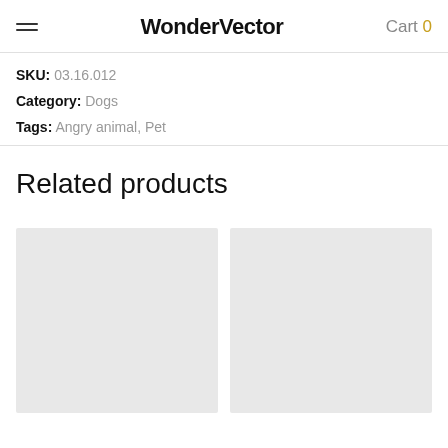WonderVector  Cart 0
SKU: 03.16.012
Category: Dogs
Tags: Angry animal, Pet
Related products
[Figure (other): Two product image placeholder cards side by side, light gray background]
[Figure (other): Second product image placeholder card, light gray background]